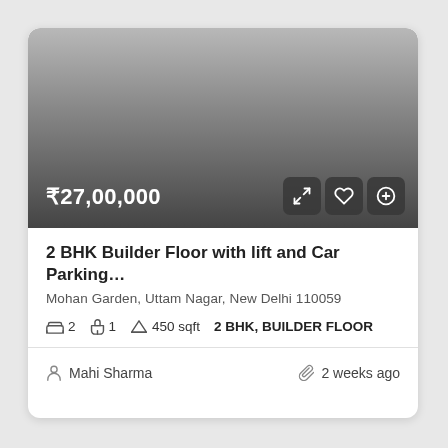[Figure (photo): Gradient placeholder image for property listing, dark grey gradient from light top to dark bottom]
₹27,00,000
2 BHK Builder Floor with lift and Car Parking…
Mohan Garden, Uttam Nagar, New Delhi 110059
2  1  450 sqft  2 BHK, BUILDER FLOOR
Mahi Sharma
2 weeks ago